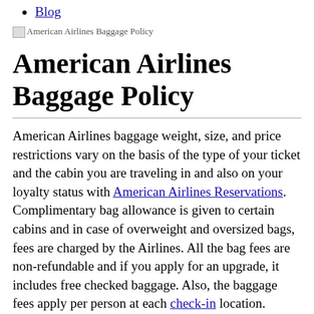Blog
[Figure (illustration): Small image icon with alt text 'American Airlines Baggage Policy']
American Airlines Baggage Policy
American Airlines baggage weight, size, and price restrictions vary on the basis of the type of your ticket and the cabin you are traveling in and also on your loyalty status with American Airlines Reservations. Complimentary bag allowance is given to certain cabins and in case of overweight and oversized bags, fees are charged by the Airlines. All the bag fees are non-refundable and if you apply for an upgrade, it includes free checked baggage. Also, the baggage fees apply per person at each check-in location.
American Airlines Checked Baggage Policy
According to the American Airlines baggage Policy, You can carry